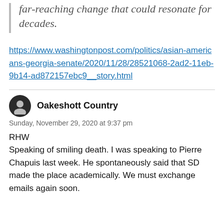far-reaching change that could resonate for decades.
https://www.washingtonpost.com/politics/asian-americans-georgia-senate/2020/11/28/28521068-2ad2-11eb-9b14-ad872157ebc9__story.html
Oakeshott Country
Sunday, November 29, 2020 at 9:37 pm
RHW
Speaking of smiling death. I was speaking to Pierre Chapuis last week. He spontaneously said that SD made the place academically. We must exchange emails again soon.